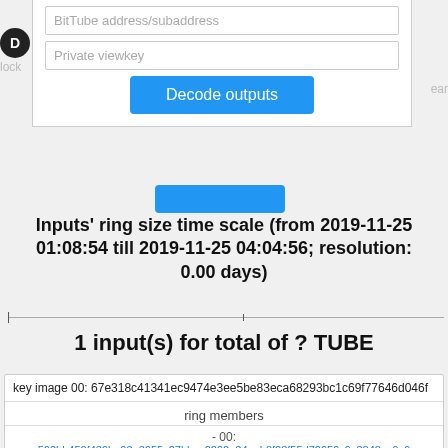server, as the calculations are done on the server side
BitTube address/subaddress
Private viewkey
Decode outputs
Inputs' ring size time scale (from 2019-11-25 01:08:54 till 2019-11-25 04:04:56; resolution: 0.00 days)
1 input(s) for total of ? TUBE
key image 00: 67e318c41341ec9474e3ee5be83eca68293bc1c69f77646d046f
ring members
- 00:
563bb450f439be93e3655c27bbce0290e34eeb8f28f55d72659c9c3848ca9c9
- 01:
c317e7e7332dbdd073a6941e9658b870e2c1756604a81d48ca3045d25eb3d2